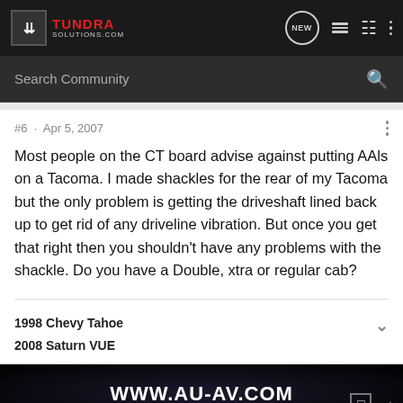TUNDRA SOLUTIONS.COM
#6 · Apr 5, 2007
Most people on the CT board advise against putting AAls on a Tacoma. I made shackles for the rear of my Tacoma but the only problem is getting the driveshaft lined back up to get rid of any driveline vibration. But once you get that right then you shouldn't have any problems with the shackle. Do you have a Double, xtra or regular cab?
1998 Chevy Tahoe
2008 Saturn VUE
[Figure (screenshot): Advertisement banner showing WWW.AU-AV.COM on a dark starry background]